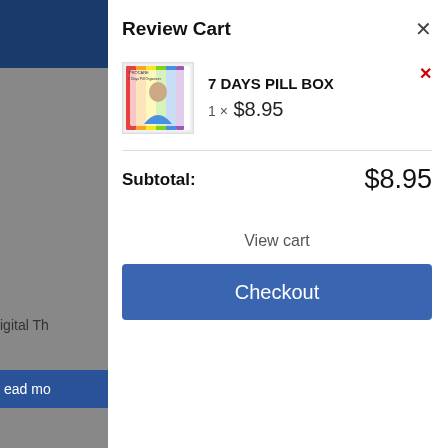Review Cart
[Figure (photo): Product image of 7 Days Pill Box showing packaging with elderly person]
7 DAYS PILL BOX
1 × $8.95
Subtotal: $8.95
View cart
Checkout